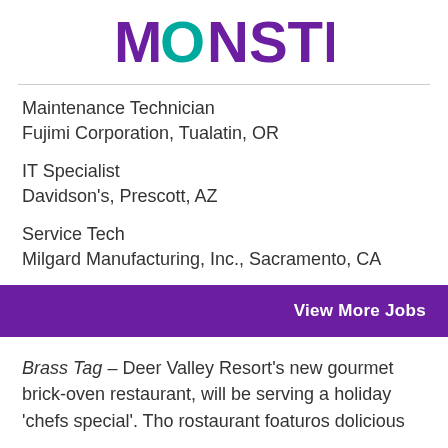[Figure (logo): Monster.com logo with purple text 'MONSTER' and teal 'O']
Maintenance Technician
Fujimi Corporation, Tualatin, OR
IT Specialist
Davidson's, Prescott, AZ
Service Tech
Milgard Manufacturing, Inc., Sacramento, CA
View More Jobs
Brass Tag – Deer Valley Resort's new gourmet brick-oven restaurant, will be serving a holiday 'chefs special'. The restaurant features delicious